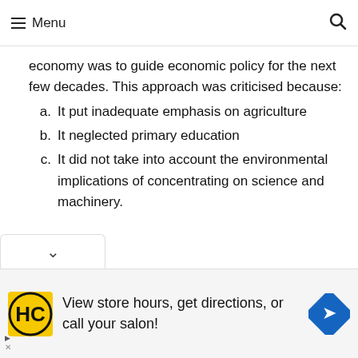Menu
economy was to guide economic policy for the next few decades. This approach was criticised because:
a. It put inadequate emphasis on agriculture
b. It neglected primary education
c. It did not take into account the environmental implications of concentrating on science and machinery.
View store hours, get directions, or call your salon!